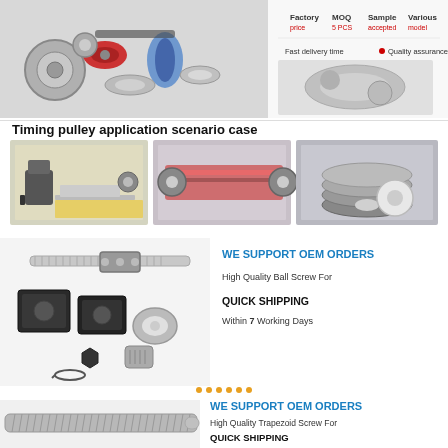[Figure (photo): Top banner showing various timing pulleys, gears and belts in metallic colors, with product info: Factory price, MOQ 5 PCS, Sample accepted, Various model, Fast delivery time, Quality assurance]
Timing pulley application scenario case
[Figure (photo): Three application scenario photos: laser engraver with servo motor and pulley, conveyor belt system with colored timing belt, and stacked disk/pulley assembly]
[Figure (photo): Ball screw assembly with bearing blocks, coupling and snap ring components]
WE SUPPORT OEM ORDERS
High Quality Ball Screw For
QUICK SHIPPING
Within 7 Working Days
[Figure (photo): Trapezoid lead screw]
WE SUPPORT OEM ORDERS
High Quality Trapezoid Screw For
QUICK SHIPPING